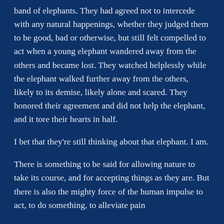band of elephants. They had agreed not to intercede with any natural happenings, whether they judged them to be good, bad or otherwise, but still felt compelled to act when a young elephant wandered away from the others and became lost. They watched helplessly while the elephant walked further away from the others, likely to its demise, likely alone and scared. They honored their agreement and did not help the elephant, and it tore their hearts in half.
I bet that they're still thinking about that elephant. I am.
There is something to be said for allowing nature to take its course, and for accepting things as they are. But there is also the mighty force of the human impulse to act, to do something, to alleviate pain